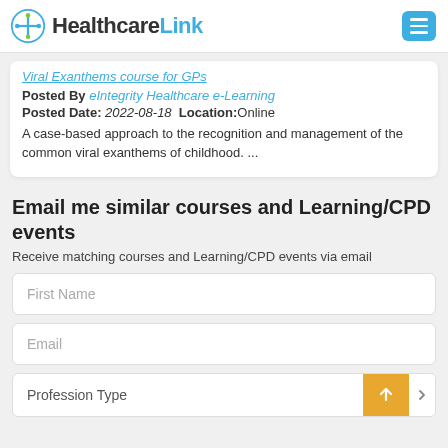HealthcareLink
Posted By eIntegrity Healthcare e-Learning
Posted Date: 2022-08-18  Location:Online
A case-based approach to the recognition and management of the common viral exanthems of childhood. ...
Email me similar courses and Learning/CPD events
Receive matching courses and Learning/CPD events via email
First Name
Email
Profession Type